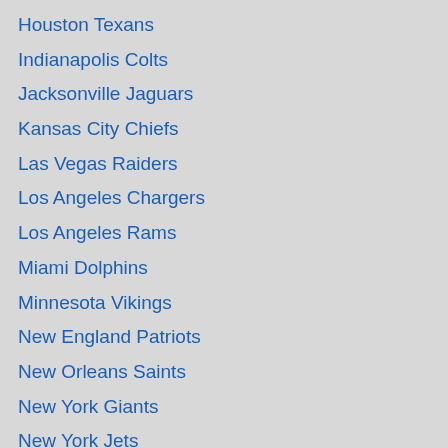Houston Texans
Indianapolis Colts
Jacksonville Jaguars
Kansas City Chiefs
Las Vegas Raiders
Los Angeles Chargers
Los Angeles Rams
Miami Dolphins
Minnesota Vikings
New England Patriots
New Orleans Saints
New York Giants
New York Jets
Philadelphia Eagles
Pittsburgh Steelers
San Francisco 49ers